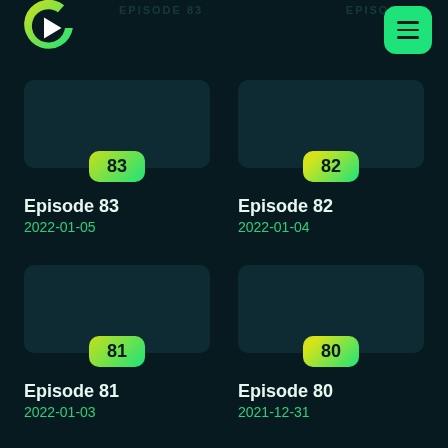[Figure (logo): Circular play button logo with green-yellow gradient forming a C shape with a white play triangle inside]
[Figure (other): Green hamburger menu button (three horizontal lines) on rounded green square background]
Episode 83
2022-01-05
Episode 82
2022-01-04
Episode 81
2022-01-03
Episode 80
2021-12-31